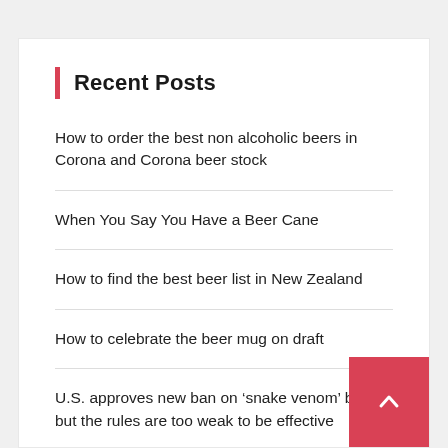Recent Posts
How to order the best non alcoholic beers in Corona and Corona beer stock
When You Say You Have a Beer Cane
How to find the best beer list in New Zealand
How to celebrate the beer mug on draft
U.S. approves new ban on ‘snake venom’ beer, but the rules are too weak to be effective